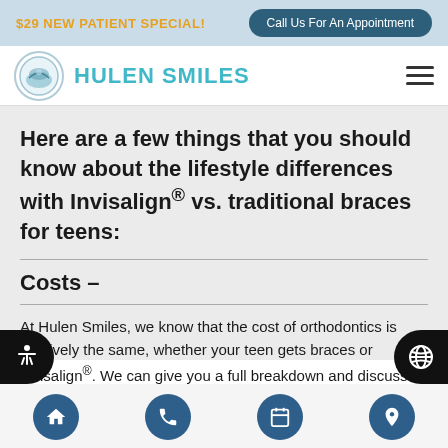$29 NEW PATIENT SPECIAL! | Call Us For An Appointment
[Figure (logo): Hulen Smiles dental practice logo with circular emblem and teal text]
Here are a few things that you should know about the lifestyle differences with Invisalign® vs. traditional braces for teens:
Costs –
At Hulen Smiles, we know that the cost of orthodontics is relatively the same, whether your teen gets braces or Invisalign®. We can give you a full breakdown and discuss payment options when you
Home | Phone | Appointment | Location